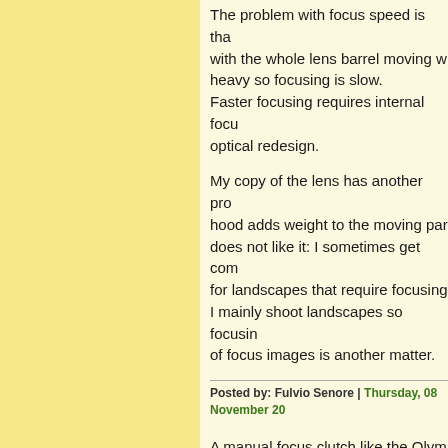The problem with focus speed is tha... with the whole lens barrel moving w... heavy so focusing is slow. Faster focusing requires internal focu... optical redesign.
My copy of the lens has another prob... hood adds weight to the moving part... does not like it: I sometimes get com... for landscapes that require focusing... I mainly shoot landscapes so focusin... of focus images is another matter.
Posted by: Fulvio Senore | Thursday, 08 November 20...
A manual focus clutch like the Olym... option for a v3 20mm. The Panasoni... rendering than the Olympus. When '... M43 bodies, the Pany 20's form fact... a GM1 or E-PM1. If you're carrying